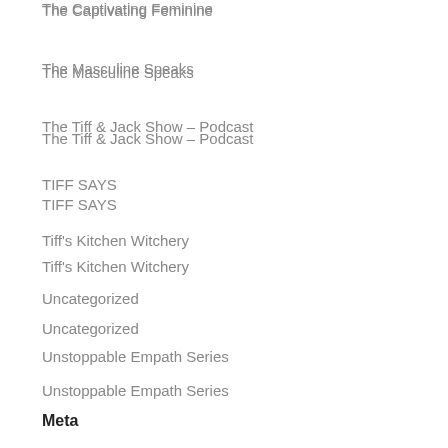The Captivating Feminine
The Masculine Speaks
The Tiff & Jack Show – Podcast
TIFF SAYS
Tiff's Kitchen Witchery
Uncategorized
Unstoppable Empath Series
Meta
Log in
Entries feed
Comments feed
WordPress.org